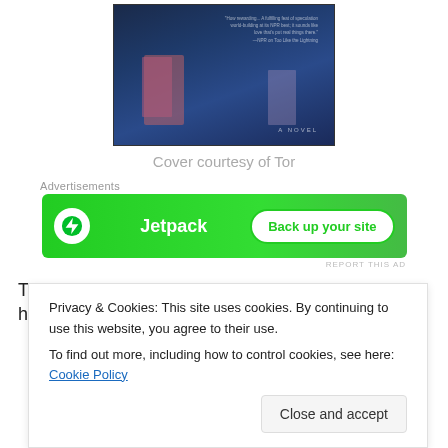[Figure (illustration): Book cover image showing dark blue-toned scene with figures, text overlay with review quote, 'A NOVEL' text at bottom right]
Cover courtesy of Tor
Advertisements
[Figure (other): Jetpack advertisement banner with green background, Jetpack logo and 'Back up your site' button]
REPORT THIS AD
This is Palmer's second book, following the heralded Too
Privacy & Cookies: This site uses cookies. By continuing to use this website, you agree to their use.
To find out more, including how to control cookies, see here: Cookie Policy
complete attention. I've found that there have been a